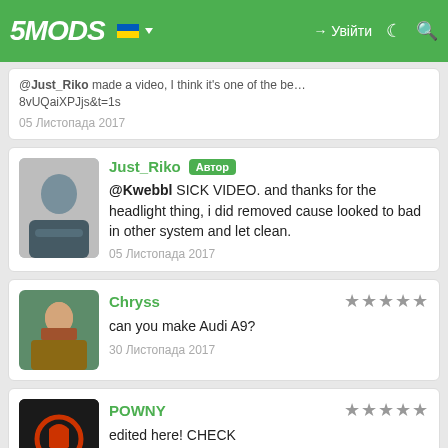5MODS — Увійти — navigation bar
@Just_Riko made a video, I think it's one of the best done. :) https://www.youtube.com/watch?... 8vUQaiXPJjs&t=1s — 05 Листопада 2017
Just_Riko [Автор] @Kwebbl SICK VIDEO. and thanks for the headlight thing, i did removed cause looked to bad in other system and let clean. — 05 Листопада 2017
Chryss ★★★★★ can you make Audi A9? — 30 Листопада 2017
POWNY ★★★★★ edited here! CHECK https://www.youtube.com/watch?v=qm7KmahMxso — 02 Грудня 2017